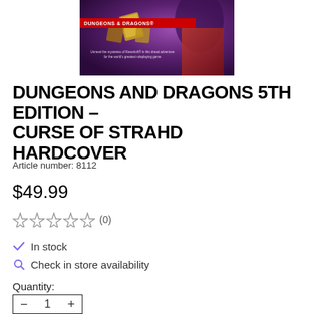[Figure (photo): Book cover of Dungeons and Dragons 5th Edition - Curse of Strahd Hardcover. Shows a dark fantasy scene with purple and red tones, featuring the Dungeons & Dragons logo on a red banner and subtitle text.]
DUNGEONS AND DRAGONS 5TH EDITION - CURSE OF STRAHD HARDCOVER
Article number: 8112
$49.99
☆☆☆☆☆ (0)
✓ In stock
🔍 Check in store availability
Quantity:
— 1 +